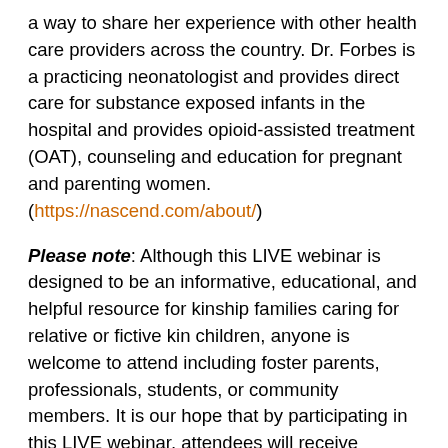a way to share her experience with other health care providers across the country. Dr. Forbes is a practicing neonatologist and provides direct care for substance exposed infants in the hospital and provides opioid-assisted treatment (OAT), counseling and education for pregnant and parenting women. (https://nascend.com/about/)
Please note: Although this LIVE webinar is designed to be an informative, educational, and helpful resource for kinship families caring for relative or fictive kin children, anyone is welcome to attend including foster parents, professionals, students, or community members. It is our hope that by participating in this LIVE webinar, attendees will receive educational and helpful information. However, it is important to note that this webinar is not approved for foster parent training credit or CEU's as attendance is not monitored during the